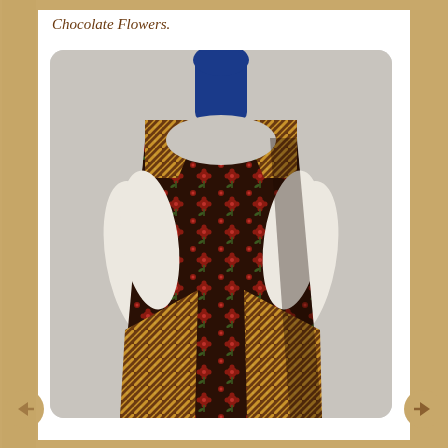Chocolate Flowers.
[Figure (photo): A brown apron with red floral print and diagonal stripe trim displayed on a blue mannequin bust against a light gray background. The apron features a dark chocolate brown fabric with small red flowers and green leaves, with contrasting diagonal stripe fabric at the shoulders and lower hem area.]